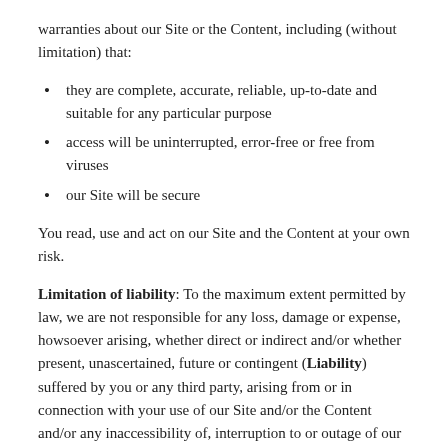warranties about our Site or the Content, including (without limitation) that:
they are complete, accurate, reliable, up-to-date and suitable for any particular purpose
access will be uninterrupted, error-free or free from viruses
our Site will be secure
You read, use and act on our Site and the Content at your own risk.
Limitation of liability: To the maximum extent permitted by law, we are not responsible for any loss, damage or expense, howsoever arising, whether direct or indirect and/or whether present, unascertained, future or contingent (Liability) suffered by you or any third party, arising from or in connection with your use of our Site and/or the Content and/or any inaccessibility of, interruption to or outage of our Site and/or any loss or corruption of data and/or the fact that the Content is